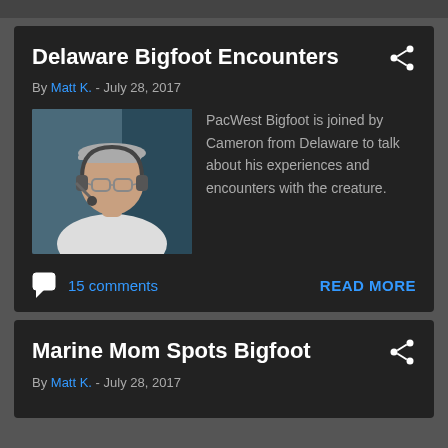Delaware Bigfoot Encounters
By Matt K. - July 28, 2017
[Figure (photo): Thumbnail photo of a man wearing a white t-shirt, glasses, and a cap, with headphones on, in front of a blue background.]
PacWest Bigfoot is joined by Cameron from Delaware to talk about his experiences and encounters with the creature.
15 comments
READ MORE
Marine Mom Spots Bigfoot
By Matt K. - July 28, 2017